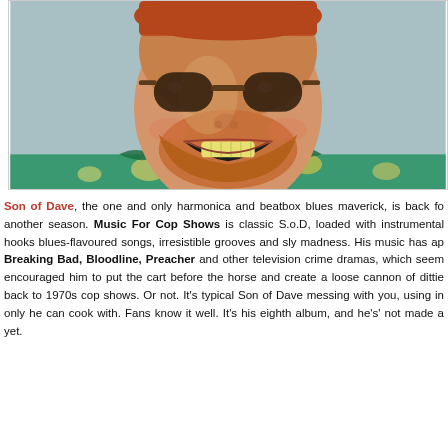[Figure (photo): Close-up portrait of a smiling red-haired bearded man wearing round dark sunglasses and a colourful Hawaiian shirt, against a light blue-grey background.]
Son of Dave, the one and only harmonica and beatbox blues maverick, is back for another season. Music For Cop Shows is classic S.o.D, loaded with instrumental hooks, blues-flavoured songs, irresistible grooves and sly madness. His music has appeared in Breaking Bad, Bloodline, Preacher and other television crime dramas, which seems to have encouraged him to put the cart before the horse and create a loose cannon of ditties that hark back to 1970s cop shows. Or not. It's typical Son of Dave messing with you, using ingredients only he can cook with. Fans know it well. It's his eighth album, and he's' not made a dull one yet.